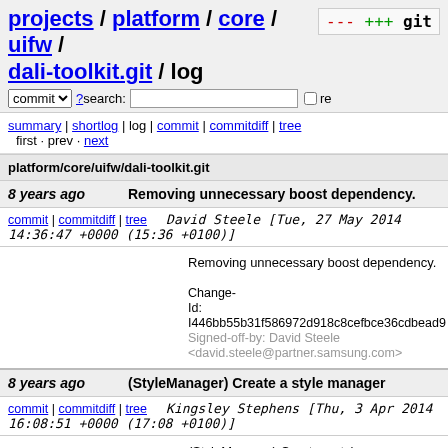projects / platform / core / uifw / dali-toolkit.git / log
summary | shortlog | log | commit | commitdiff | tree
first · prev · next
platform/core/uifw/dali-toolkit.git
8 years ago   Removing unnecessary boost dependency.
commit | commitdiff | tree   David Steele [Tue, 27 May 2014 14:36:47 +0000 (15:36 +0100)]
Removing unnecessary boost dependency.

Change-Id: I446bb55b31f586972d918c8cefbce36cdbead9
Signed-off-by: David Steele <david.steele@partner.samsung.com>
8 years ago   (StyleManager) Create a style manager
commit | commitdiff | tree   Kingsley Stephens [Thu, 3 Apr 2014 16:08:51 +0000 (17:08 +0100)]
(StyleManager) Create a style manager

Change-Id: Ibb93cc3f31a77000ab14a6396bc345bafc8839...